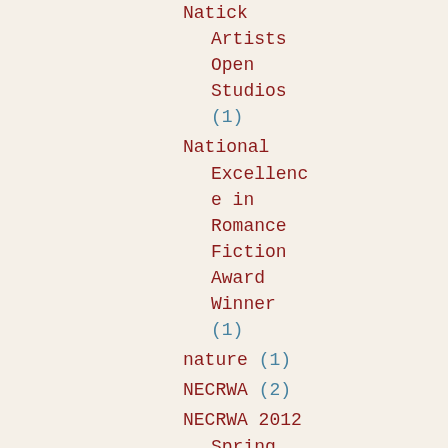Natick Artists Open Studios (1)
National Excellence in Romance Fiction Award Winner (1)
nature (1)
NECRWA (2)
NECRWA 2012 Spring Conference